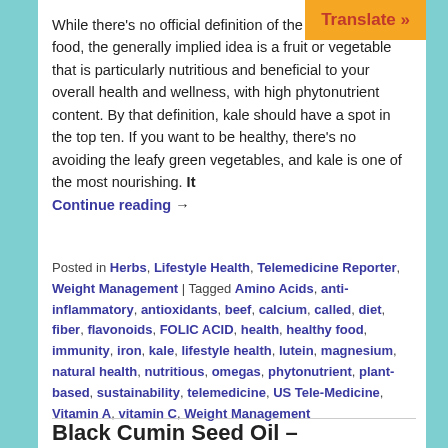While there's no official definition of the term super food, the generally implied idea is a fruit or vegetable that is particularly nutritious and beneficial to your overall health and wellness, with high phytonutrient content. By that definition, kale should have a spot in the top ten. If you want to be healthy, there's no avoiding the leafy green vegetables, and kale is one of the most nourishing. It Continue reading →
Posted in Herbs, Lifestyle Health, Telemedicine Reporter, Weight Management | Tagged Amino Acids, anti-inflammatory, antioxidants, beef, calcium, called, diet, fiber, flavonoids, FOLIC ACID, health, healthy food, immunity, iron, kale, lifestyle health, lutein, magnesium, natural health, nutritious, omegas, phytonutrient, plant-based, sustainability, telemedicine, US Tele-Medicine, Vitamin A, vitamin C, Weight Management
Black Cumin Seed Oil –